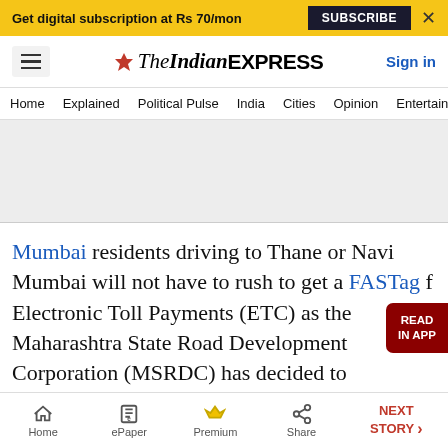Get digital subscription at Rs 70/mon  SUBSCRIBE  X
The Indian EXPRESS  Sign in
Home  Explained  Political Pulse  India  Cities  Opinion  Entertainment
[Figure (other): Advertisement placeholder (grey box)]
Mumbai residents driving to Thane or Navi Mumbai will not have to rush to get a FASTag f Electronic Toll Payments (ETC) as the Maharashtra State Road Development Corporation (MSRDC) has decided to implement
Home  ePaper  Premium  Share  NEXT STORY